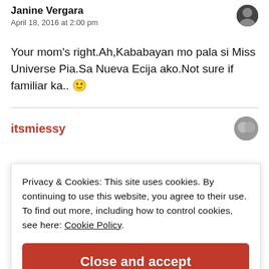Janine Vergara
April 18, 2016 at 2:00 pm
Your mom's right.Ah,Kababayan mo pala si Miss Universe Pia.Sa Nueva Ecija ako.Not sure if familiar ka.. 🙂
itsmiessy
Privacy & Cookies: This site uses cookies. By continuing to use this website, you agree to their use. To find out more, including how to control cookies, see here: Cookie Policy
Close and accept